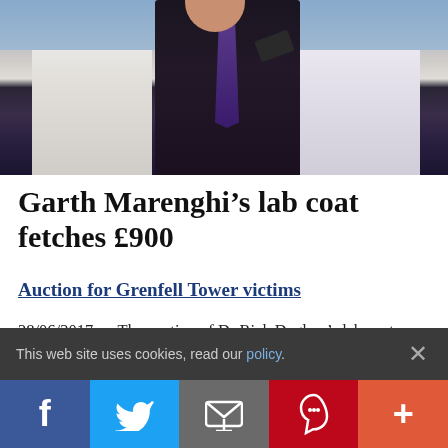[Figure (photo): Three people in lab coats and costumes, one holding a gun, from Garth Marenghi's Darkplace TV show]
Garth Marenghi's lab coat fetches £900
Auction for Grenfell Tower victims
28/06/2017 … The auction of Dr Rick Dagless's lab coat from Garth Marenghi's Darkplace has raised almost £1,000 for victims of Grenfell Tower.
This web site uses cookies, read our policy.